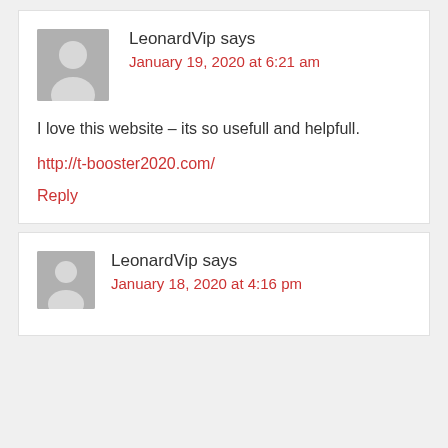LeonardVip says
January 19, 2020 at 6:21 am
I love this website – its so usefull and helpfull.
http://t-booster2020.com/
Reply
LeonardVip says
January 18, 2020 at 4:16 pm